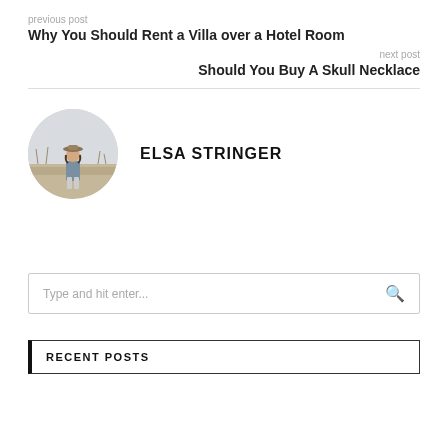previous post
Why You Should Rent a Villa over a Hotel Room
next post
Should You Buy A Skull Necklace
ELSA STRINGER
[Figure (photo): Circular portrait photo of a person standing in a field wearing a hat]
Type and hit enter...
RECENT POSTS